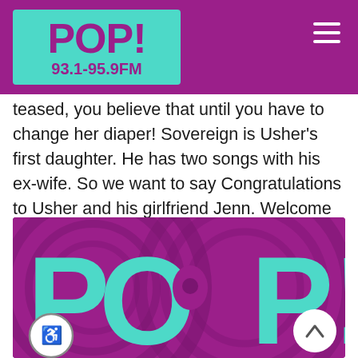[Figure (logo): POP! 93.1-95.9FM radio station logo on teal background within purple header bar]
teased, you believe that until you have to change her diaper! Sovereign is Usher's first daughter. He has two songs with his ex-wife. So we want to say Congratulations to Usher and his girlfriend Jenn. Welcome to the world newborn!
[Figure (logo): POP! radio station logo on purple swirling background]